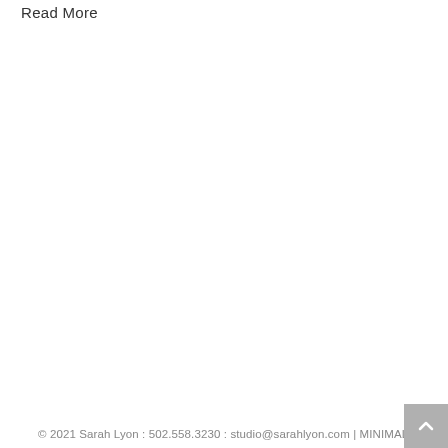Read More
© 2021 Sarah Lyon : 502.558.3230 : studio@sarahlyon.com | MINIMAL